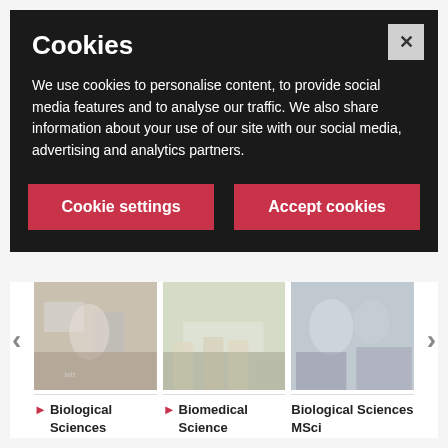Cookies
We use cookies to personalise content, to provide social media features and to analyse our traffic. We also share information about your use of our site with our social media, advertising and analytics partners.
Cookie settings | Accept cookies
[Figure (photo): Lab photo 1: Scientist with microscope in lab]
[Figure (photo): Lab photo 2: Students in lab coats working with samples]
[Figure (photo): Lab photo 3: Students in lab coats with equipment]
Biological Sciences BSc(Hons)
Biomedical Science BSc(Hons)
Biological Sciences MSci